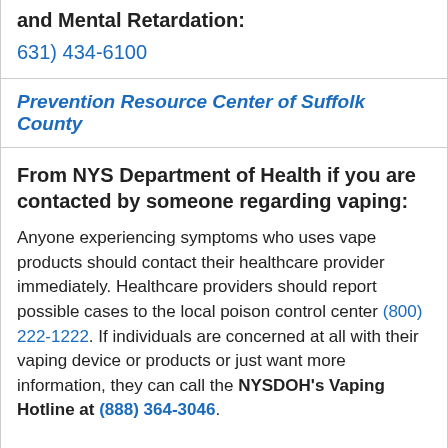and Mental Retardation:
631) 434-6100
Prevention Resource Center of Suffolk County
From NYS Department of Health if you are contacted by someone regarding vaping:
Anyone experiencing symptoms who uses vape products should contact their healthcare provider immediately. Healthcare providers should report possible cases to the local poison control center (800) 222-1222. If individuals are concerned at all with their vaping device or products or just want more information, they can call the NYSDOH's Vaping Hotline at (888) 364-3046.